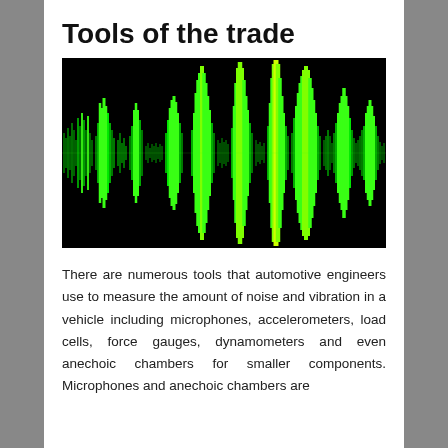Tools of the trade
[Figure (illustration): A waveform visualization showing an audio/vibration signal as bright green spikes against a black background, resembling a spectrum analyzer or oscilloscope display.]
There are numerous tools that automotive engineers use to measure the amount of noise and vibration in a vehicle including microphones, accelerometers, load cells, force gauges, dynamometers and even anechoic chambers for smaller components. Microphones and anechoic chambers are